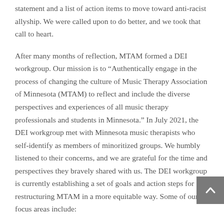statement and a list of action items to move toward anti-racist allyship. We were called upon to do better, and we took that call to heart.
After many months of reflection, MTAM formed a DEI workgroup. Our mission is to “Authentically engage in the process of changing the culture of Music Therapy Association of Minnesota (MTAM) to reflect and include the diverse perspectives and experiences of all music therapy professionals and students in Minnesota.” In July 2021, the DEI workgroup met with Minnesota music therapists who self-identify as members of minoritized groups. We humbly listened to their concerns, and we are grateful for the time and perspectives they bravely shared with us. The DEI workgroup is currently establishing a set of goals and action steps for restructuring MTAM in a more equitable way. Some of our focus areas include:
Governance Review of the entire association to identify areas